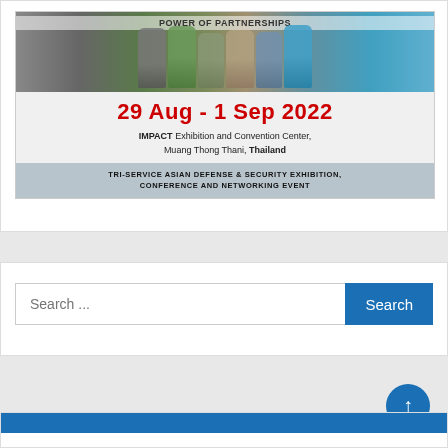[Figure (illustration): Event banner for a tri-service Asian defense and security exhibition at IMPACT Exhibition and Convention Center, Muang Thong Thani, Thailand on 29 Aug - 1 Sep 2022. Features silhouettes of soldiers in different military roles/colors (grey, green, tan, blue). Text includes date in red bold, venue in black, and tagline in grey bar.]
Search ...
Search